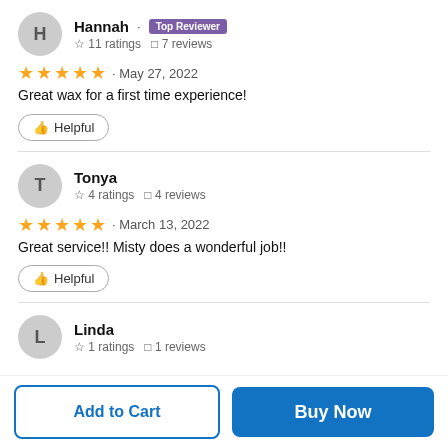Hannah · Top Reviewer
☆ 11 ratings  □ 7 reviews
★★★★★ · May 27, 2022
Great wax for a first time experience!
👍 Helpful
Tonya
☆ 4 ratings  □ 4 reviews
★★★★★ · March 13, 2022
Great service!! Misty does a wonderful job!!
👍 Helpful
Linda
☆ 1 ratings  □ 1 reviews
Add to Cart
Buy Now